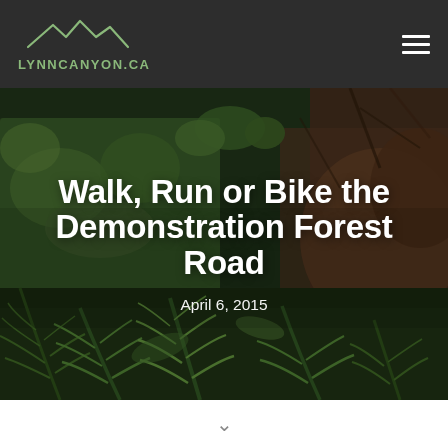LYNNCANYON.CA
[Figure (photo): Forest scene with ferns, moss-covered rocks, and dense green foliage in a temperate rainforest setting]
Walk, Run or Bike the Demonstration Forest Road
April 6, 2015